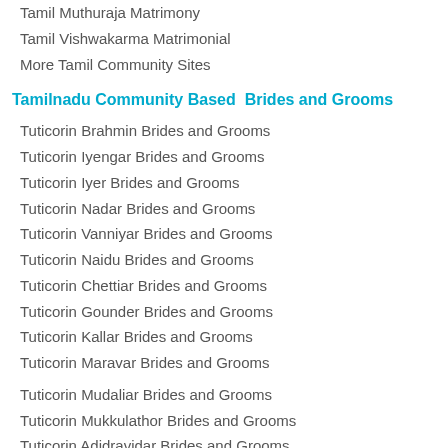Tamil Muthuraja Matrimony
Tamil Vishwakarma Matrimonial
More Tamil Community Sites
Tamilnadu Community Based  Brides and Grooms
Tuticorin Brahmin Brides and Grooms
Tuticorin Iyengar Brides and Grooms
Tuticorin Iyer Brides and Grooms
Tuticorin Nadar Brides and Grooms
Tuticorin Vanniyar Brides and Grooms
Tuticorin Naidu Brides and Grooms
Tuticorin Chettiar Brides and Grooms
Tuticorin Gounder Brides and Grooms
Tuticorin Kallar Brides and Grooms
Tuticorin Maravar Brides and Grooms
Tuticorin Mudaliar Brides and Grooms
Tuticorin Mukkulathor Brides and Grooms
Tuticorin Adidravidar Brides and Grooms
Tuticorin Pillai Brides and Grooms
Tuticorin Naicker Brides and Grooms